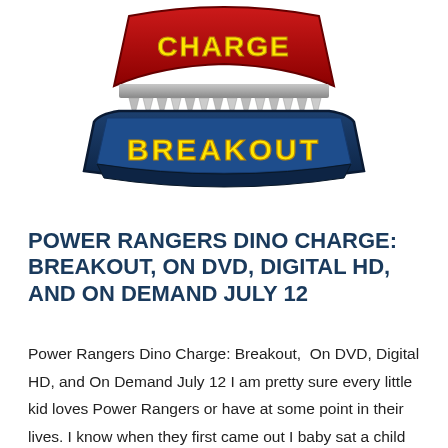[Figure (logo): Power Rangers Dino Charge: Breakout logo — red shark-teeth emblem at top, blue metallic badge with yellow text BREAKOUT below]
POWER RANGERS DINO CHARGE: BREAKOUT, ON DVD, DIGITAL HD, AND ON DEMAND JULY 12
Power Rangers Dino Charge: Breakout,  On DVD, Digital HD, and On Demand July 12 I am pretty sure every little kid loves Power Rangers or have at some point in their lives. I know when they first came out I baby sat a child that absolutely was in love with the Power Rangers. On July 12 you can get a